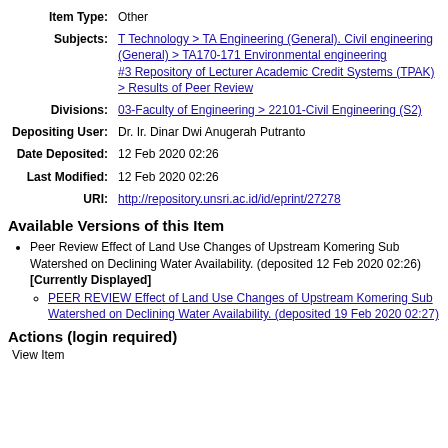| Item Type: | Other |
| Subjects: | T Technology > TA Engineering (General). Civil engineering (General) > TA170-171 Environmental engineering
#3 Repository of Lecturer Academic Credit Systems (TPAK) > Results of Peer Review |
| Divisions: | 03-Faculty of Engineering > 22101-Civil Engineering (S2) |
| Depositing User: | Dr. Ir. Dinar Dwi Anugerah Putranto |
| Date Deposited: | 12 Feb 2020 02:26 |
| Last Modified: | 12 Feb 2020 02:26 |
| URI: | http://repository.unsri.ac.id/id/eprint/27278 |
Available Versions of this Item
Peer Review Effect of Land Use Changes of Upstream Komering Sub Watershed on Declining Water Availability. (deposited 12 Feb 2020 02:26) [Currently Displayed]
PEER REVIEW Effect of Land Use Changes of Upstream Komering Sub Watershed on Declining Water Availability. (deposited 19 Feb 2020 02:27)
Actions (login required)
View Item